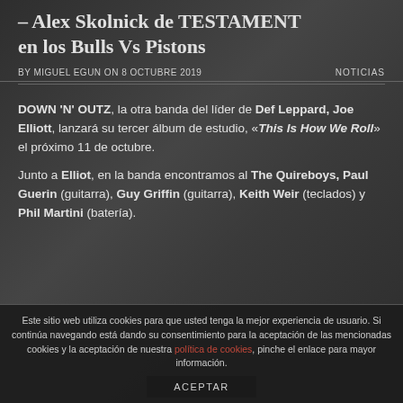– Alex Skolnick de TESTAMENT en los Bulls Vs Pistons
BY MIGUEL EGUN ON 8 OCTUBRE 2019   NOTICIAS
DOWN 'N' OUTZ, la otra banda del líder de Def Leppard, Joe Elliott, lanzará su tercer álbum de estudio, «This Is How We Roll» el próximo 11 de octubre.
Junto a Elliot, en la banda encontramos al The Quireboys, Paul Guerin (guitarra), Guy Griffin (guitarra), Keith Weir (teclados) y Phil Martini (batería).
Este sitio web utiliza cookies para que usted tenga la mejor experiencia de usuario. Si continúa navegando está dando su consentimiento para la aceptación de las mencionadas cookies y la aceptación de nuestra política de cookies, pinche el enlace para mayor información. ACEPTAR